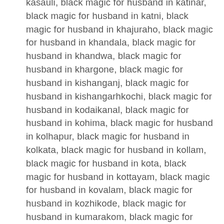kasauli, black magic for husband in katinar, black magic for husband in katni, black magic for husband in khajuraho, black magic for husband in khandala, black magic for husband in khandwa, black magic for husband in khargone, black magic for husband in kishanganj, black magic for husband in kishangarhkochi, black magic for husband in kodaikanal, black magic for husband in kohima, black magic for husband in kolhapur, black magic for husband in kolkata, black magic for husband in kollam, black magic for husband in kota, black magic for husband in kottayam, black magic for husband in kovalam, black magic for husband in kozhikode, black magic for husband in kumarakom, black magic for husband in kumbakonam, black magic for husband in kurukshetra, black magic for husband in lalitpur, black magic for husband in latur, black magic for husband in lavasa, black magic for husband in laxmangarh, black magic for husband in leh, black magic for husband in lucknow, black magic for husband in ludhiana, black magic for husband in madikeri, black magic for husband in madurai, black magic for husband in mahabaleshwar, black magic for husband in mahabalipuram, black magic for husband in